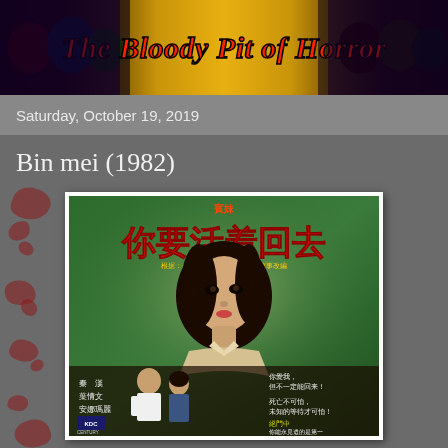[Figure (illustration): The Bloody Pit of Horror blog header banner with horror movie imagery and red italic title text on a dark golden/orange background with horror character faces on the sides]
Saturday, October 19, 2019
Bin mei (1982)
[Figure (photo): Movie poster for Bin mei (1982) — Chinese horror/thriller film poster with green background, large red Chinese characters at top, a woman's face in center, and smaller scene at bottom with actors and Chinese text. KDC Century Motion Picture and Distribution Co. Ltd logo at bottom left.]